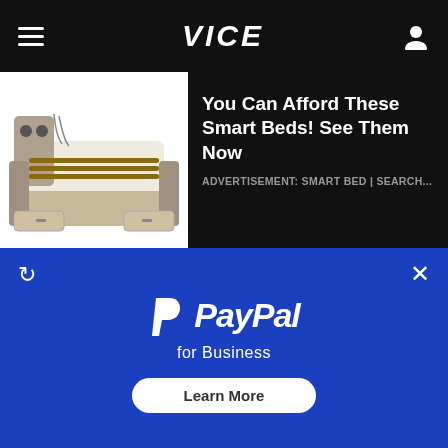VICE
You Can Afford These Smart Beds! See Them Now
ADVERTISEMENT: SMART BED | SEARCH...
[Figure (photo): A feature-rich smart bed with tech accessories, speakers, and storage drawers shown from an overhead angle.]
What Causes Psoriasis of The Scalp- It’s Not What Most People Think
[Figure (photo): Close-up of a scalp showing psoriasis condition with orange-red inflamed patches and small bright spots.]
[Figure (infographic): PayPal for Business advertisement with PayPal logo and Learn More button on a blue background.]